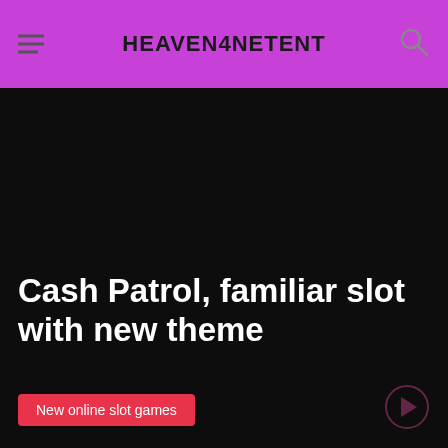HEAVEN4NETENT
[Figure (screenshot): Dark/black background area representing a slot game article hero image for 'Cash Patrol']
Cash Patrol, familiar slot with new theme
New online slot games